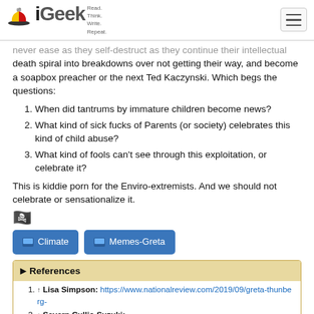iGeek — Read. Think. Write. Repeat.
never ease as they self-destruct as they continue their intellectual death spiral into breakdowns over not getting their way, and become a soapbox preacher or the next Ted Kaczynski. Which begs the questions:
1. When did tantrums by immature children become news?
2. What kind of sick fucks of Parents (or society) celebrates this kind of child abuse?
3. What kind of fools can't see through this exploitation, or celebrate it?
This is kiddie porn for the Enviro-extremists. And we should not celebrate or sensationalize it.
[Figure (illustration): Emoji/icon of a pirate skull with a small character on top]
Climate   Memes-Greta
References
1. ↑ Lisa Simpson: https://www.nationalreview.com/2019/09/greta-thunberg-
2. ↑ Severn Cullis-Suzuki: